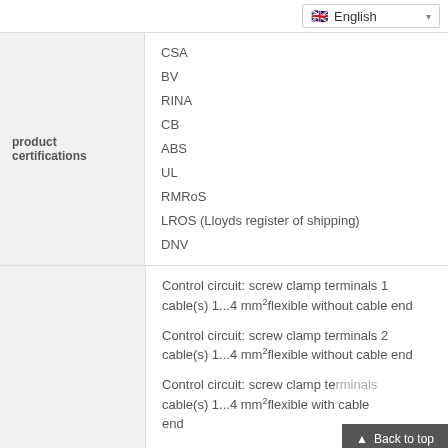English
product certifications
CSA
BV
RINA
CB
ABS
UL
RMRoS
LROS (Lloyds register of shipping)
DNV
Control circuit: screw clamp terminals 1 cable(s) 1...4 mm²flexible without cable end
Control circuit: screw clamp terminals 2 cable(s) 1...4 mm²flexible without cable end
Control circuit: screw clamp te... cable(s) 1...4 mm²flexible with cable end